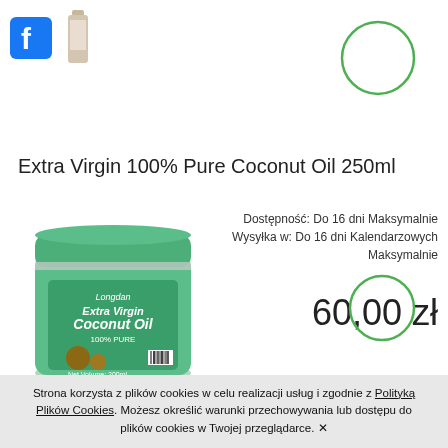[Figure (logo): Facebook logo icon (blue F)]
[Figure (photo): Small thumbnail of a product bottle]
[Figure (other): Green circle outline, top right]
Extra Virgin 100% Pure Coconut Oil 250ml
[Figure (photo): Jar of Longdan Extra Virgin 100% Pure Coconut Oil 200ml with green lid]
Dostępność: Do 16 dni Maksymalnie Wysyłka w: Do 16 dni Kalendarzowych Maksymalnie
60,00 zł
[Figure (other): Green circle outline, bottom right]
Strona korzysta z plików cookies w celu realizacji usług i zgodnie z Polityką Plików Cookies. Możesz określić warunki przechowywania lub dostępu do plików cookies w Twojej przeglądarce. ✕